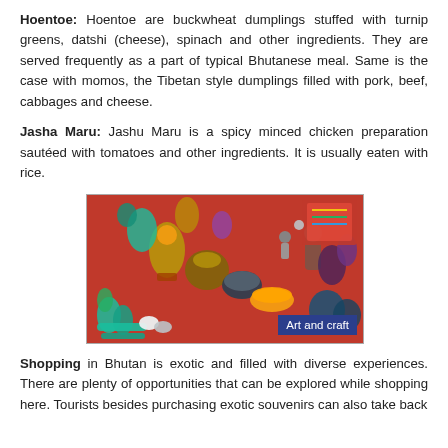Hoentoe: Hoentoe are buckwheat dumplings stuffed with turnip greens, datshi (cheese), spinach and other ingredients. They are served frequently as a part of typical Bhutanese meal. Same is the case with momos, the Tibetan style dumplings filled with pork, beef, cabbages and cheese.
Jasha Maru: Jashu Maru is a spicy minced chicken preparation sautéed with tomatoes and other ingredients. It is usually eaten with rice.
[Figure (photo): Photo of colorful Bhutanese art and craft items displayed on a red surface — includes ornate vases, bowls, figurines, and decorative objects in turquoise, bronze, and gold tones. A blue label in the bottom-right corner reads 'Art and craft'.]
Shopping in Bhutan is exotic and filled with diverse experiences. There are plenty of opportunities that can be explored while shopping here. Tourists besides purchasing exotic souvenirs can also take back